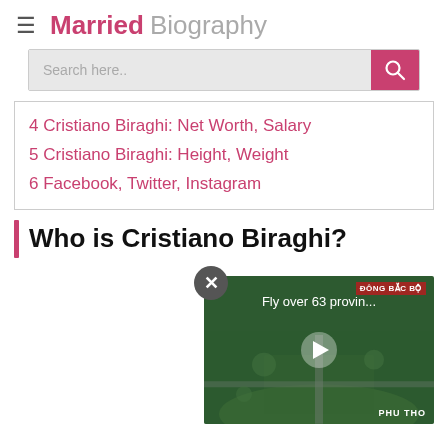Married Biography
4 Cristiano Biraghi: Net Worth, Salary
5 Cristiano Biraghi: Height, Weight
6 Facebook, Twitter, Instagram
Who is Cristiano Biraghi?
[Figure (screenshot): Video advertisement showing aerial footage of a Vietnamese city (Phu Tho) with overlay text 'Fly over 63 provin...' and a play button, with a close button above it.]